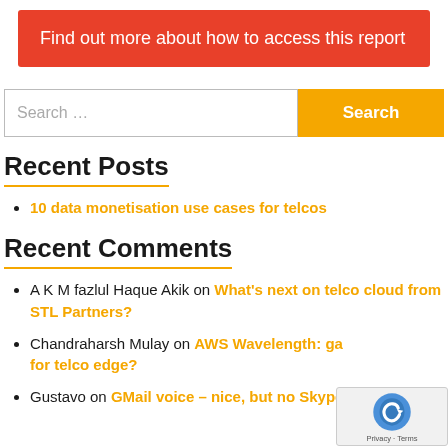Find out more about how to access this report
Search …
Recent Posts
10 data monetisation use cases for telcos
Recent Comments
A K M fazlul Haque Akik on What's next on telco cloud from STL Partners?
Chandraharsh Mulay on AWS Wavelength: ga for telco edge?
Gustavo on GMail voice – nice, but no Skype Connect